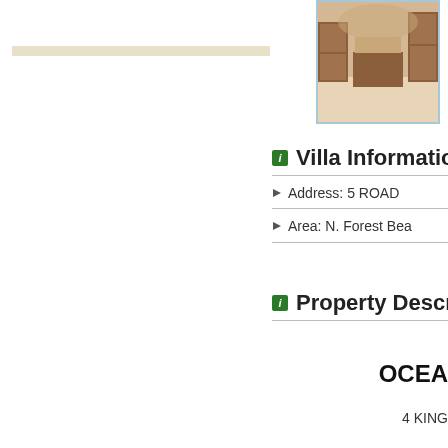[Figure (photo): Kitchen interior photo thumbnail showing wooden cabinets and island]
Villa Information
Address: 5 ROAD ...
Area: N. Forest Bea...
Property Descrip...
OCEA...
4 KING...